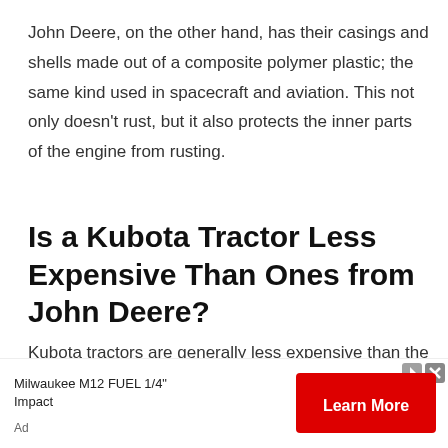John Deere, on the other hand, has their casings and shells made out of a composite polymer plastic; the same kind used in spacecraft and aviation. This not only doesn't rust, but it also protects the inner parts of the engine from rusting.
Is a Kubota Tractor Less Expensive Than Ones from John Deere?
Kubota tractors are generally less expensive than the ones offered by John Deere. This is why many people tend to opt for a new or used Kubota over
[Figure (other): Advertisement banner for Milwaukee M12 FUEL 1/4" Impact with a red 'Learn More' button and ad icons]